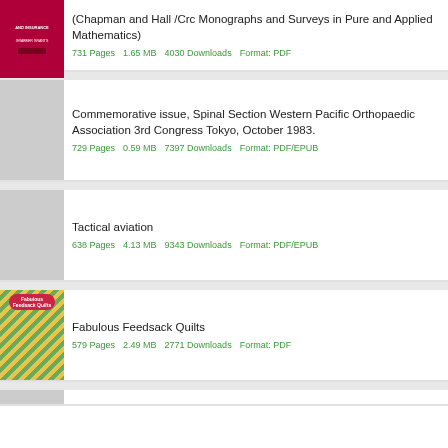(Chapman and Hall /Crc Monographs and Surveys in Pure and Applied Mathematics)
731 Pages    1.65 MB    4030 Downloads    Format: PDF
Commemorative issue, Spinal Section Western Pacific Orthopaedic Association 3rd Congress Tokyo, October 1983.
729 Pages    0.59 MB    7397 Downloads    Format: PDF/EPUB
Tactical aviation
638 Pages    4.13 MB    9343 Downloads    Format: PDF/EPUB
Fabulous Feedsack Quilts
579 Pages    2.49 MB    2771 Downloads    Format: PDF